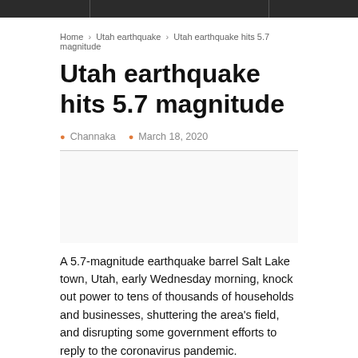Home › Utah earthquake › Utah earthquake hits 5.7 magnitude
Utah earthquake hits 5.7 magnitude
Channaka   March 18, 2020
[Figure (other): Advertisement or blank space placeholder]
A 5.7-magnitude earthquake barrel Salt Lake town, Utah, early Wednesday morning, knock out power to tens of thousands of households and businesses, shuttering the area's field, and disrupting some government efforts to reply to the coronavirus pandemic.